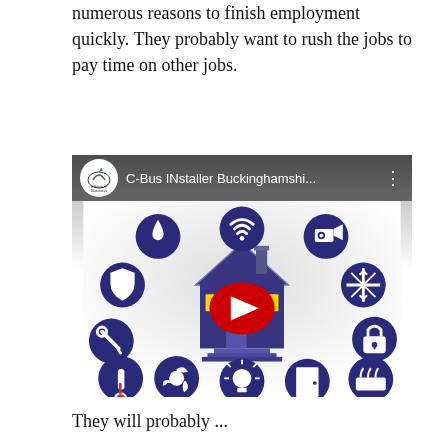numerous reasons to finish employment quickly. They probably want to rush the jobs to pay time on other jobs.
[Figure (screenshot): YouTube video thumbnail showing 'C-Bus INstaller Buckinghamshi...' with a smart home automation graphic featuring a house illustration surrounded by dark blue circular icons for water, WiFi, security camera, snowflake/AC, lock, heating, door, light bulb, fan/recycling, thermometer, tools, and shield. A red YouTube play button is overlaid in the center.]
They will probably ...